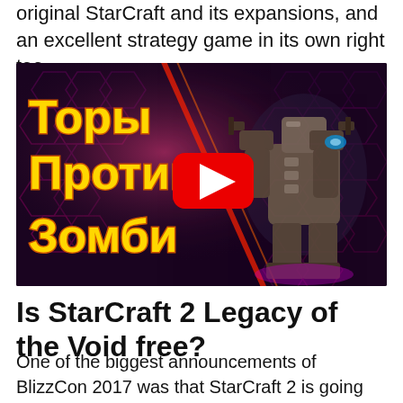original StarCraft and its expansions, and an excellent strategy game in its own right too.
[Figure (screenshot): YouTube video thumbnail showing a StarCraft 2 Thor unit on a dark hexagonal background with Russian text 'Торы Против Зомби' (Thors vs Zombies) in yellow/orange, with a red YouTube play button in the center.]
Is StarCraft 2 Legacy of the Void free?
One of the biggest announcements of BlizzCon 2017 was that StarCraft 2 is going free-to-play. The real-time strategy game has